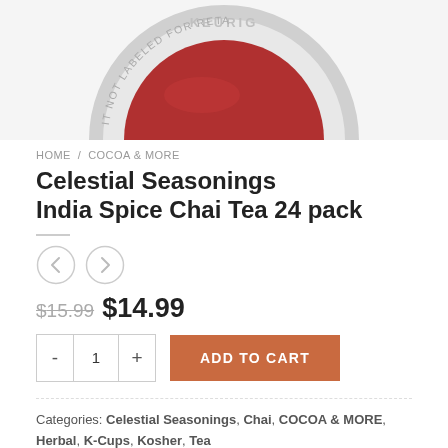[Figure (photo): Top partial view of a Keurig K-Cup pod with red label, showing Keurig logo and text 'NOT LABELED FOR RETAIL' around the rim]
HOME / COCOA & MORE
Celestial Seasonings India Spice Chai Tea 24 pack
$15.99  $14.99
ADD TO CART
Categories: Celestial Seasonings, Chai, COCOA & MORE, Herbal, K-Cups, Kosher, Tea